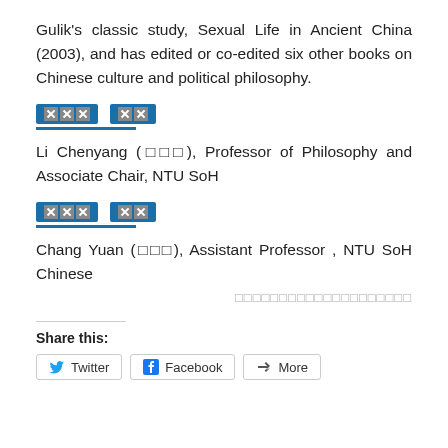Gulik's classic study, Sexual Life in Ancient China (2003), and has edited or co-edited six other books on Chinese culture and political philosophy.
[Figure (other): Social sharing widget with two blue icon buttons (XXX and XX) and a blue underline bar]
Li Chenyang (□□□), Professor of Philosophy and Associate Chair, NTU SoH
[Figure (other): Social sharing widget with two blue icon buttons (XXX and XX) and a blue underline bar]
Chang Yuan (□□□), Assistant Professor , NTU SoH Chinese
□□□□□□□□□□□□□□□□□□□□
Share this:
Twitter   Facebook   More